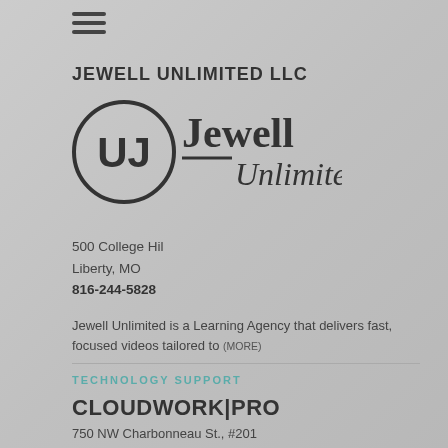[Figure (logo): Hamburger menu icon with three horizontal lines]
JEWELL UNLIMITED LLC
[Figure (logo): Jewell Unlimited logo: circular UJ monogram with 'Jewell Unlimited' wordmark in bold serif and italic script]
500 College Hil
Liberty, MO
816-244-5828
Jewell Unlimited is a Learning Agency that delivers fast, focused videos tailored to (MORE)
TECHNOLOGY SUPPORT
CLOUDWORK|PRO
750 NW Charbonneau St., #201
Bend, OR
541-275-1200